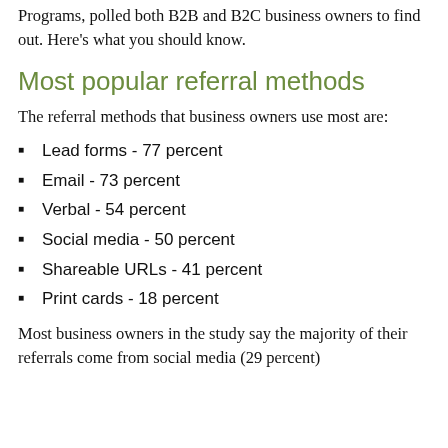Programs, polled both B2B and B2C business owners to find out. Here's what you should know.
Most popular referral methods
The referral methods that business owners use most are:
Lead forms - 77 percent
Email - 73 percent
Verbal - 54 percent
Social media - 50 percent
Shareable URLs - 41 percent
Print cards - 18 percent
Most business owners in the study say the majority of their referrals come from social media (29 percent)